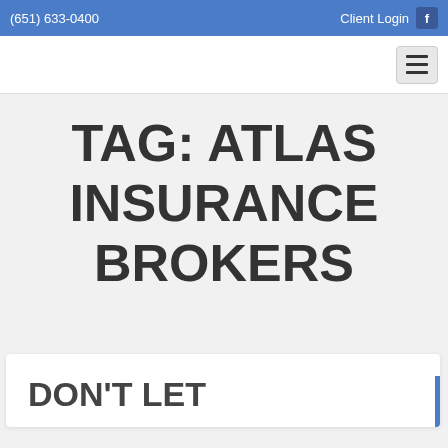(651) 633-0400   Client Login
TAG: ATLAS INSURANCE BROKERS
DON'T LET